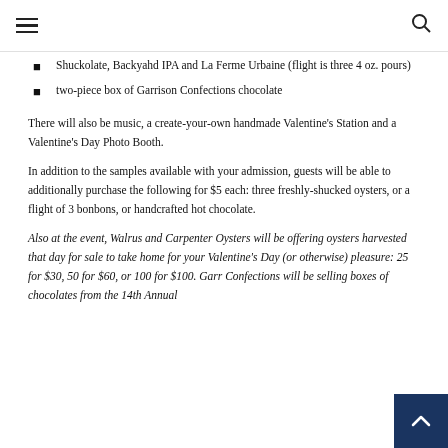[hamburger menu] [search icon]
Shuckolate, Backyahd IPA and La Ferme Urbaine (flight is three 4 oz. pours)
two-piece box of Garrison Confections chocolate
There will also be music, a create-your-own handmade Valentine’s Station and a Valentine’s Day Photo Booth.
In addition to the samples available with your admission, guests will be able to additionally purchase the following for $5 each: three freshly-shucked oysters, or a flight of 3 bonbons, or handcrafted hot chocolate.
Also at the event, Walrus and Carpenter Oysters will be offering oysters harvested that day for sale to take home for your Valentine’s Day (or otherwise) pleasure: 25 for $30, 50 for $60, or 100 for $100. Garr… Confections will be selling boxes of chocolates from the 14th Annual